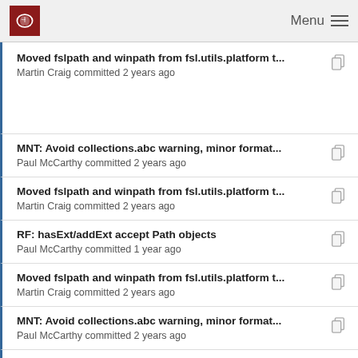Menu
Moved fslpath and winpath from fsl.utils.platform t...
Martin Craig committed 2 years ago
MNT: Avoid collections.abc warning, minor format...
Paul McCarthy committed 2 years ago
Moved fslpath and winpath from fsl.utils.platform t...
Martin Craig committed 2 years ago
RF: hasExt/addExt accept Path objects
Paul McCarthy committed 1 year ago
Moved fslpath and winpath from fsl.utils.platform t...
Martin Craig committed 2 years ago
MNT: Avoid collections.abc warning, minor format...
Paul McCarthy committed 2 years ago
RF: hasExt/addExt accept Path objects
Paul McCarthy committed 1 year ago